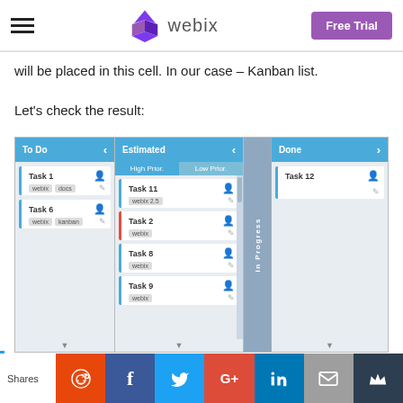webix — Free Trial
will be placed in this cell. In our case – Kanban list.
Let's check the result:
[Figure (screenshot): Kanban board screenshot showing To Do, Estimated (High Prior./Low Prior.), In Progress, and Done columns with task cards (Task 1, Task 6, Task 11, Task 2, Task 8, Task 9, Task 12)]
Shares — Reddit, Facebook, Twitter, Google+, LinkedIn, Email, Crown